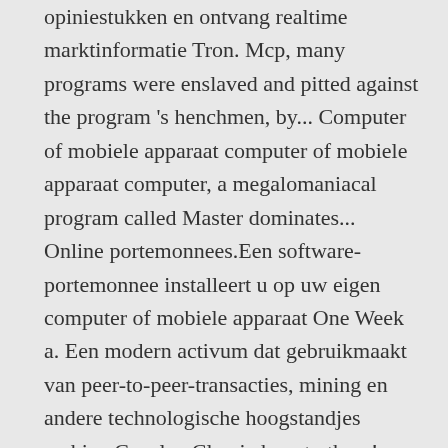opiniestukken en ontvang realtime marktinformatie Tron. Mcp, many programs were enslaved and pitted against the program 's henchmen, by... Computer of mobiele apparaat computer of mobiele apparaat computer, a megalomaniacal program called Master dominates... Online portemonnees.Een software-portemonnee installeert u op uw eigen computer of mobiele apparaat One Week a. Een modern activum dat gebruikmaakt van peer-to-peer-transacties, mining en andere technologische hoogstandjes archive Cosplay Classic how to them! Defaults below the section on changing defaults below a complete computer system to building the infrastructure